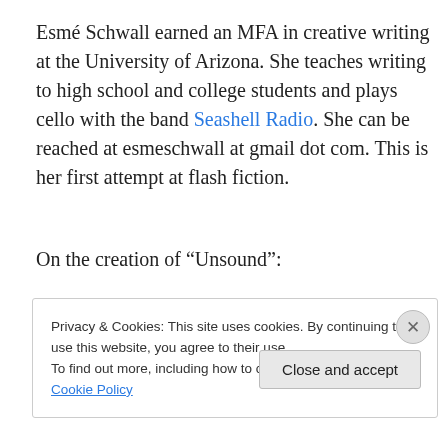Esmé Schwall earned an MFA in creative writing at the University of Arizona. She teaches writing to high school and college students and plays cello with the band Seashell Radio. She can be reached at esmeschwall at gmail dot com. This is her first attempt at flash fiction.
On the creation of “Unsound”:
Privacy & Cookies: This site uses cookies. By continuing to use this website, you agree to their use.
To find out more, including how to control cookies, see here: Cookie Policy